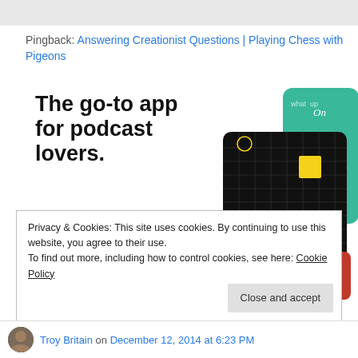Pingback: Answering Creationist Questions | Playing Chess with Pigeons
[Figure (infographic): Advertisement for a podcast app. Bold black text reads 'The go-to app for podcast lovers.' with a red 'Download now' link. Right side shows stylized podcast app card graphics including a '99% Invisible' card on a dark background with yellow square, a green card, and a blue card.]
Privacy & Cookies: This site uses cookies. By continuing to use this website, you agree to their use.
To find out more, including how to control cookies, see here: Cookie Policy
Troy Britain on December 12, 2014 at 6:23 PM